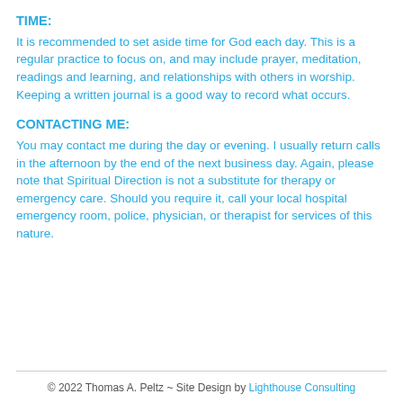TIME:
It is recommended to set aside time for God each day. This is a regular practice to focus on, and may include prayer, meditation, readings and learning, and relationships with others in worship. Keeping a written journal is a good way to record what occurs.
CONTACTING ME:
You may contact me during the day or evening. I usually return calls in the afternoon by the end of the next business day. Again, please note that Spiritual Direction is not a substitute for therapy or emergency care. Should you require it, call your local hospital emergency room, police, physician, or therapist for services of this nature.
© 2022 Thomas A. Peltz ~ Site Design by Lighthouse Consulting